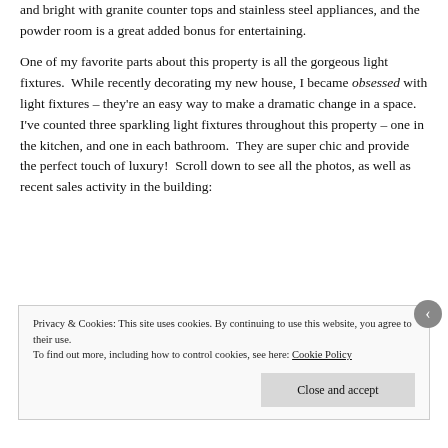and bright with granite counter tops and stainless steel appliances, and the powder room is a great added bonus for entertaining.
One of my favorite parts about this property is all the gorgeous light fixtures.  While recently decorating my new house, I became obsessed with light fixtures – they're an easy way to make a dramatic change in a space.  I've counted three sparkling light fixtures throughout this property – one in the kitchen, and one in each bathroom.  They are super chic and provide the perfect touch of luxury!  Scroll down to see all the photos, as well as recent sales activity in the building:
Privacy & Cookies: This site uses cookies. By continuing to use this website, you agree to their use.
To find out more, including how to control cookies, see here: Cookie Policy